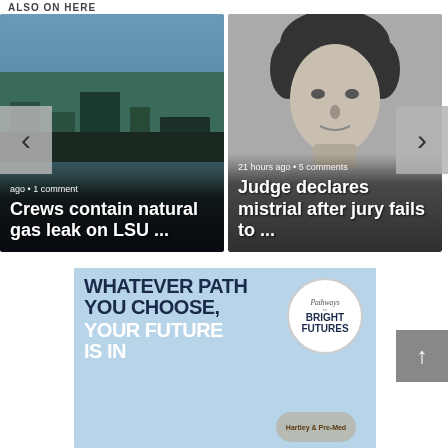ALSO ON HERE
[Figure (photo): News card: aerial/landscape photo of LSU campus at dusk with text overlay 'ago • 1 comment' and headline 'Crews contain natural gas leak on LSU ...']
[Figure (photo): News card: black and white mugshot-style photo of a young person with text overlay '21 hours ago • 5 comments' and headline 'Judge declares mistrial after jury fails to ...']
[Figure (illustration): Advertisement banner with light blue background. Text reads 'WHATEVER PATH YOU CHOOSE, YOUR FUTURE IS IN [logo]' with Pathways to Bright Futures circular logo on the right.]